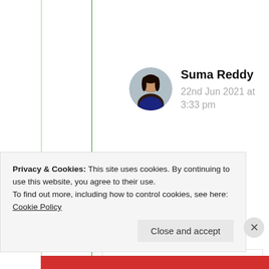[Figure (photo): Circular avatar photo of Suma Reddy, a woman with dark hair]
Suma Reddy
22nd Jun 2021 at 3:33 pm
🤗 ❤️
★ Like
Privacy & Cookies: This site uses cookies. By continuing to use this website, you agree to their use.
To find out more, including how to control cookies, see here: Cookie Policy
Close and accept